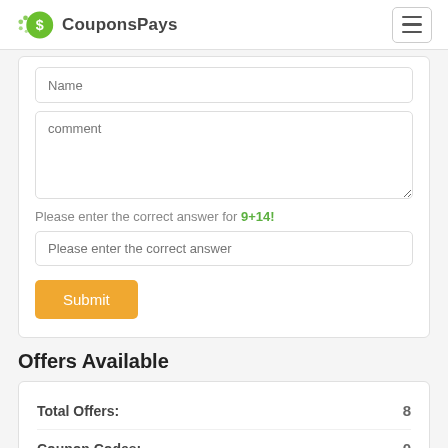CouponsPays
Name
comment
Please enter the correct answer for 9+14!
Please enter the correct answer
Submit
Offers Available
|  |  |
| --- | --- |
| Total Offers: | 8 |
| Coupon Codes: | 0 |
| Deals: | 8 |